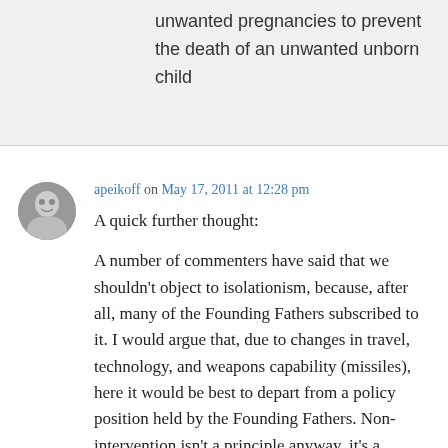unwanted pregnancies to prevent the death of an unwanted unborn child
apeikoff on May 17, 2011 at 12:28 pm
A quick further thought:

A number of commenters have said that we shouldn't object to isolationism, because, after all, many of the Founding Fathers subscribed to it. I would argue that, due to changes in travel, technology, and weapons capability (missiles), here it would be best to depart from a policy position held by the Founding Fathers. Non-intervention isn't a principle anyway, it's a